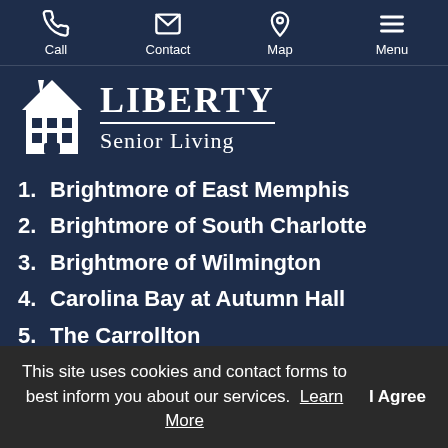Call  Contact  Map  Menu
[Figure (logo): Liberty Senior Living logo with building icon]
1. Brightmore of East Memphis
2. Brightmore of South Charlotte
3. Brightmore of Wilmington
4. Carolina Bay at Autumn Hall
5. The Carrollton
6. Hayes Barton Place
7. Inspire Brunswick Forest
This site uses cookies and contact forms to best inform you about our services.  Learn More     I Agree